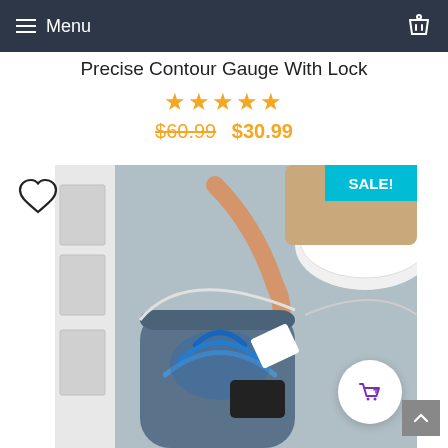Menu
Precise Contour Gauge With Lock
★★★★★
$60.99  $30.99
[Figure (photo): Person hand dropping an item into a smart trash bin with blue WiFi signal animation inside. A SALE! badge is visible in the top right corner.]